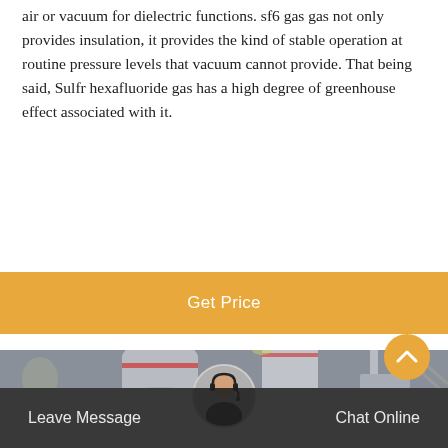air or vacuum for dielectric functions. sf6 gas gas not only provides insulation, it provides the kind of stable operation at routine pressure levels that vacuum cannot provide. That being said, Sulfr hexafluoride gas has a high degree of greenhouse effect associated with it.
Get Price
[Figure (photo): Industrial electrical equipment room showing large SF6 gas-insulated switchgear units with pipes, flanges, and structural supports, viewed from below at ceiling level.]
Leave Message   Chat Online